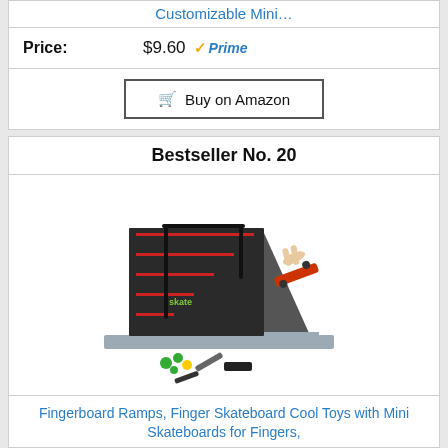Customizable Mini…
Price: $9.60 ✓Prime
Buy on Amazon
Bestseller No. 20
[Figure (photo): Fingerboard ramp toy set with red staircase ramp, finger skateboard, and accessories including colorful fingerboard wheels and tools]
Fingerboard Ramps, Finger Skateboard Cool Toys with Mini Skateboards for Fingers,